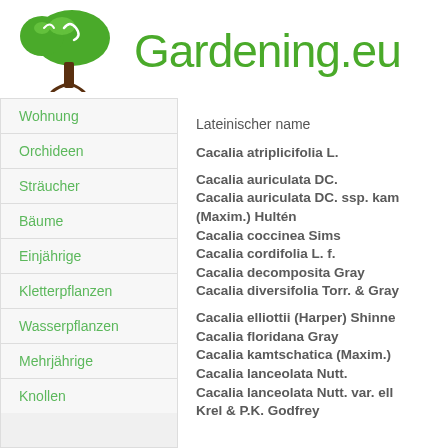[Figure (logo): Gardening.eu logo: green tree icon on the left, text 'Gardening.eu' in green on the right]
Wohnung
Orchideen
Sträucher
Bäume
Einjährige
Kletterpflanzen
Wasserpflanzen
Mehrjährige
Knollen
Lateinischer name
Cacalia atriplicifolia L.
Cacalia auriculata DC.
Cacalia auriculata DC. ssp. kam (Maxim.) Hultén
Cacalia coccinea Sims
Cacalia cordifolia L. f.
Cacalia decomposita Gray
Cacalia diversifolia Torr. & Gray
Cacalia elliottii (Harper) Shinne
Cacalia floridana Gray
Cacalia kamtschatica (Maxim.)
Cacalia lanceolata Nutt.
Cacalia lanceolata Nutt. var. ell
Krel & P.K. Godfrey